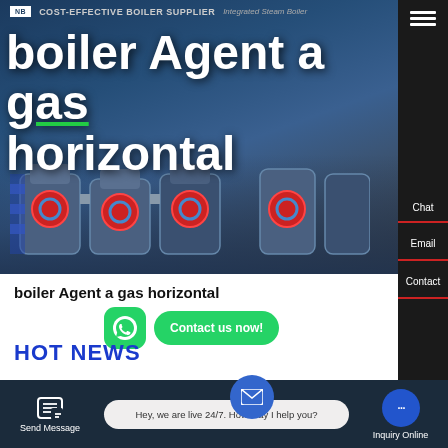[Figure (screenshot): Website screenshot showing a boiler supplier company page. Hero banner with industrial boiler machinery in background. Navigation sidebar on right with Chat, Email, Contact options. White content section below with subtitle, WhatsApp contact button, and HOT NEWS section. Bottom toolbar with Send Message, live chat bubble, and Inquiry Online buttons.]
COST-EFFECTIVE BOILER SUPPLIER | Integrated Steam Boiler
boiler Agent a gas horizontal
boiler Agent a gas horizontal
Contact us now!
HOT NEWS
Hey, we are live 24/7. How may I help you?
Send Message | Inquiry Online